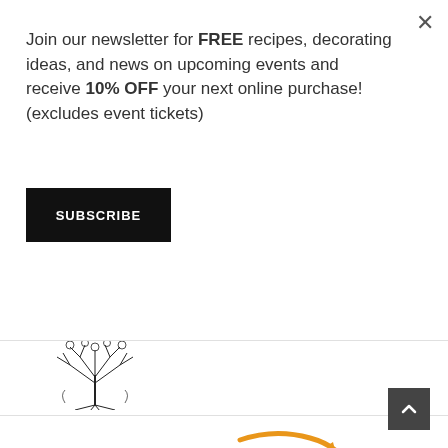Join our newsletter for FREE recipes, decorating ideas, and news on upcoming events and receive 10% OFF your next online purchase!(excludes event tickets)
[Figure (other): Black X close button for the popup modal in top right corner]
[Figure (other): SUBSCRIBE button - black rectangle with white uppercase text]
[Figure (logo): Decorative black and white tree/botanical logo in upper left of background page header]
[Figure (logo): Partial Amazon logo showing orange curved arrow/smile graphic]
[Figure (other): Dark grey scroll-to-top button with upward chevron arrow in bottom right corner]